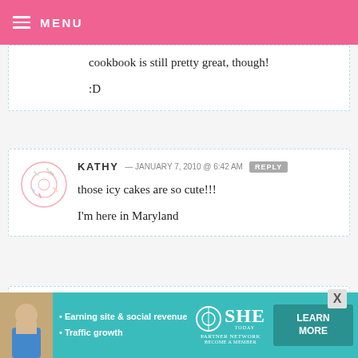MENU
cookbook is still pretty great, though!
:D
KATHY — JANUARY 7, 2010 @ 6:42 AM  REPLY
those icy cakes are so cute!!!
I'm here in Maryland
MARIANNE — JANUARY 7, 2010 @ 6:42 AM  REPLY
[Figure (screenshot): Advertisement banner for SHE Partner Network with text 'Earning site & social revenue', 'Traffic growth', SHE logo, and 'LEARN MORE' button]